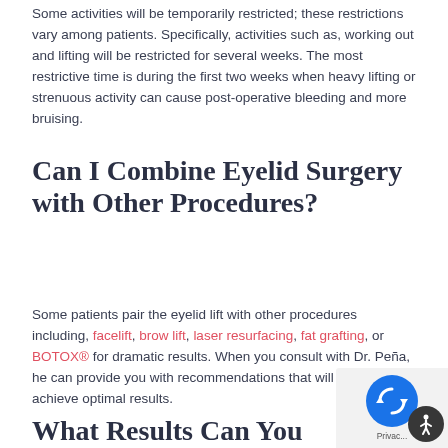Some activities will be temporarily restricted; these restrictions vary among patients. Specifically, activities such as, working out and lifting will be restricted for several weeks. The most restrictive time is during the first two weeks when heavy lifting or strenuous activity can cause post-operative bleeding and more bruising.
Can I Combine Eyelid Surgery with Other Procedures?
Some patients pair the eyelid lift with other procedures including, facelift, brow lift, laser resurfacing, fat grafting, or BOTOX® for dramatic results. When you consult with Dr. Peña, he can provide you with recommendations that will help you achieve optimal results.
What Results Can You